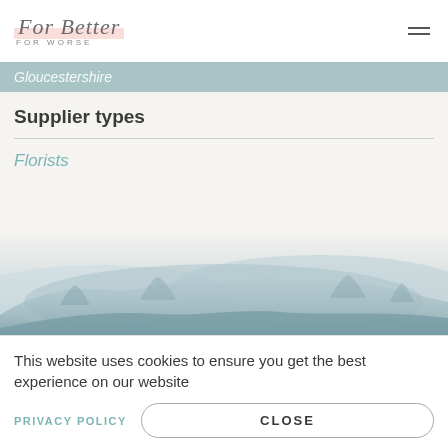For Better FOR WORSE
Gloucestershire
Supplier types
Florists
[Figure (illustration): Watercolor misty landscape with blue-grey fog and trees blending into the background]
This website uses cookies to ensure you get the best experience on our website
PRIVACY POLICY
CLOSE